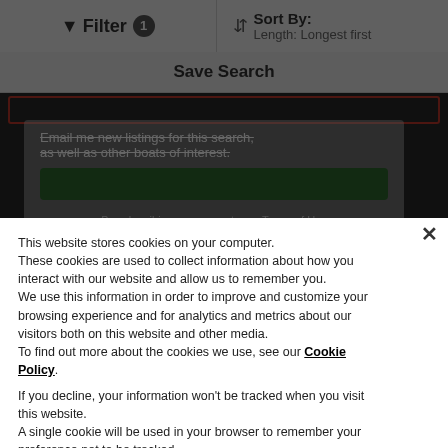Filter 1
Sort By: Length: Longest first
Save Search
This website stores cookies on your computer. These cookies are used to collect information about how you interact with our website and allow us to remember you. We use this information in order to improve and customize your browsing experience and for analytics and metrics about our visitors both on this website and other media. To find out more about the cookies we use, see our Cookie Policy.
If you decline, your information won't be tracked when you visit this website. A single cookie will be used in your browser to remember your preference not to be tracked.
Deny
Accept Cookies